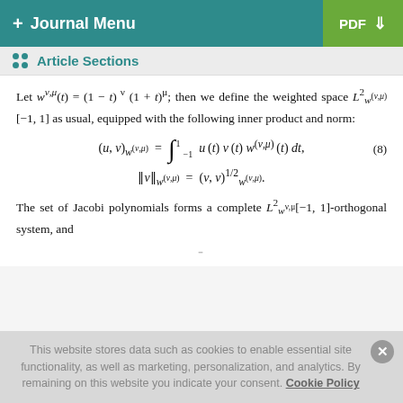+ Journal Menu | PDF ↓
Article Sections
Let w^(ν,μ)(t) = (1 − t)^ν (1 + t)^μ; then we define the weighted space L²_{w^(ν,μ)}[−1, 1] as usual, equipped with the following inner product and norm:
The set of Jacobi polynomials forms a complete L²_{w^{ν,μ}}[−1, 1]-orthogonal system, and
This website stores data such as cookies to enable essential site functionality, as well as marketing, personalization, and analytics. By remaining on this website you indicate your consent. Cookie Policy